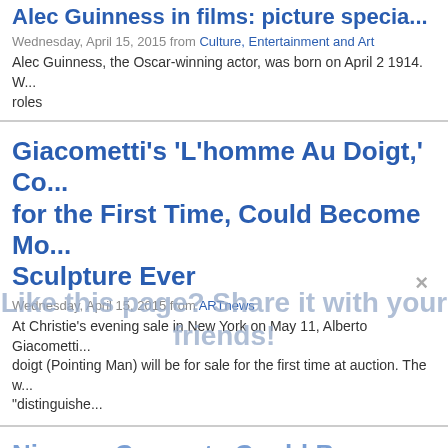Alec Guinness in films: picture specia...
Wednesday, April 15, 2015 from Culture, Entertainment and Art
Alec Guinness, the Oscar-winning actor, was born on April 2 1914. W... roles
Giacometti's 'L'homme Au Doigt,' Co... for the First Time, Could Become Mo... Sculpture Ever
Wednesday, April 15, 2015 from ARTnews
At Christie's evening sale in New York on May 11, Alberto Giacometti... doigt (Pointing Man) will be for sale for the first time at auction. The w... "distinguishe...
Nirvana Concerts Could Be Beautifu...
Wednesday, April 15, 2015 from NYT > Arts
The shows were often scenes of Kurt Cobain in catharsis. A look ba... performances.
Like this page? Share it with your friends!